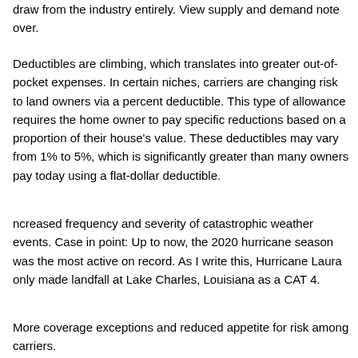draw from the industry entirely. View supply and demand note over.
Deductibles are climbing, which translates into greater out-of-pocket expenses. In certain niches, carriers are changing risk to land owners via a percent deductible. This type of allowance requires the home owner to pay specific reductions based on a proportion of their house's value. These deductibles may vary from 1% to 5%, which is significantly greater than many owners pay today using a flat-dollar deductible.
ncreased frequency and severity of catastrophic weather events. Case in point: Up to now, the 2020 hurricane season was the most active on record. As I write this, Hurricane Laura only made landfall at Lake Charles, Louisiana as a CAT 4.
More coverage exceptions and reduced appetite for risk among carriers.